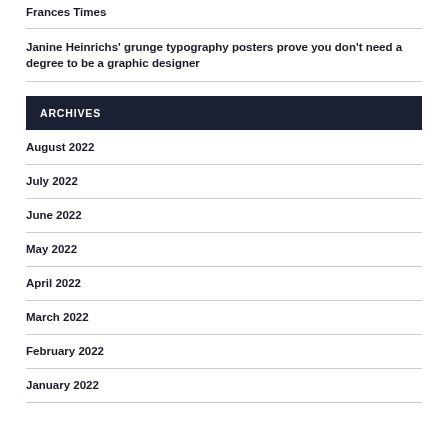Frances Times
Janine Heinrichs' grunge typography posters prove you don't need a degree to be a graphic designer
ARCHIVES
August 2022
July 2022
June 2022
May 2022
April 2022
March 2022
February 2022
January 2022